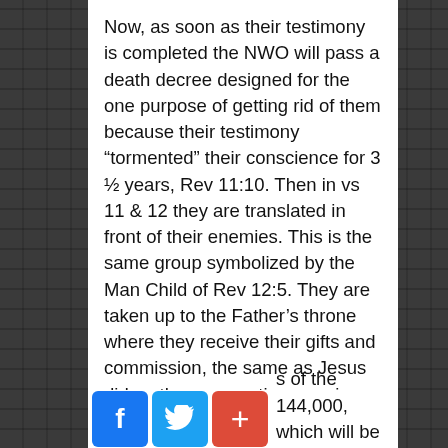Now, as soon as their testimony is completed the NWO will pass a death decree designed for the one purpose of getting rid of them because their testimony “tormented” their conscience for 3 ½ years, Rev 11:10. Then in vs 11 & 12 they are translated in front of their enemies. This is the same group symbolized by the Man Child of Rev 12:5. They are taken up to the Father’s throne where they receive their gifts and commission, the same as Jesus did on the resurrection morning. Dan 7:13, 14. Then, like Christ, they will return, Malachi 3:16-18, and search out and find, by the divine gift of discernment of character, those who have been spiritually matured to become members of the 144,000, which will be the